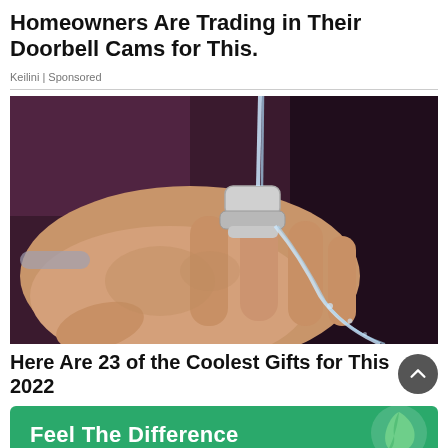Homeowners Are Trading in Their Doorbell Cams for This.
Keilini | Sponsored
[Figure (photo): A hand wearing a metallic ring-shaped water faucet device, with water streaming from it over the hand, purple/dark background.]
Here Are 23 of the Coolest Gifts for This 2022
[Figure (infographic): Green banner advertisement reading 'Feel The Difference' with a green leaf logo on the right side.]